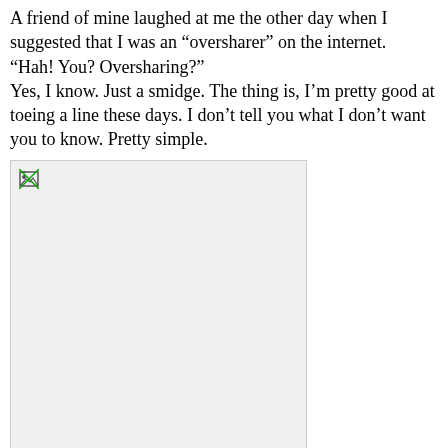A friend of mine laughed at me the other day when I suggested that I was an “oversharer” on the internet. “Hah! You? Oversharing?” Yes, I know. Just a smidge. The thing is, I’m pretty good at toeing a line these days. I don’t tell you what I don’t want you to know. Pretty simple.
[Figure (photo): A broken/unloaded image placeholder shown as a grey rectangle with a small broken image icon in the top-left corner.]
Learning how to toe that line, though, WHOO. I done fucked up on more than just a few occasions, s o much so that I jokingly referred to myself and those like me, who’ve been oversharing for years, as “Closet